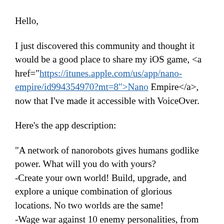Hello,
I just discovered this community and thought it would be a good place to share my iOS game, <a href="https://itunes.apple.com/us/app/nano-empire/id994354970?mt=8">Nano Empire</a>, now that I've made it accessible with VoiceOver.
Here's the app description:
"A network of nanorobots gives humans godlike power. What will you do with yours?
-Create your own world! Build, upgrade, and explore a unique combination of glorious locations. No two worlds are the same!
-Wage war against 10 enemy personalities, from giant scorpion matriarchs to ruthless space pirates!
-Embark on secret missions, discover dark truths, and